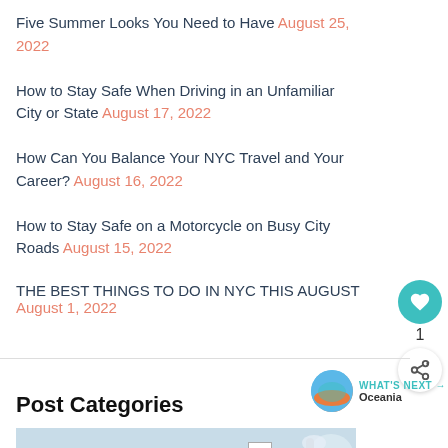Five Summer Looks You Need to Have August 25, 2022
How to Stay Safe When Driving in an Unfamiliar City or State August 17, 2022
How Can You Balance Your NYC Travel and Your Career? August 16, 2022
How to Stay Safe on a Motorcycle on Busy City Roads August 15, 2022
THE BEST THINGS TO DO IN NYC THIS AUGUST August 1, 2022
WHAT'S NEXT → Oceania
Post Categories
[Figure (infographic): Advertisement banner with #FlattenTheCurve text and hand washing image]